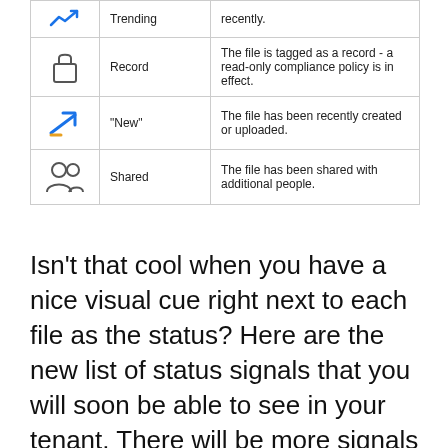| Icon | Name | Description |
| --- | --- | --- |
| [icon: trending] | Trending | recently. |
| [icon: lock] | Record | The file is tagged as a record - a read-only compliance policy is in effect. |
| [icon: new-arrow] | “New” | The file has been recently created or uploaded. |
| [icon: people] | Shared | The file has been shared with additional people. |
Isn’t that cool when you have a nice visual cue right next to each file as the status? Here are the new list of status signals that you will soon be able to see in your tenant. There will be more signals and the best news is its not going to just limit to SharePoint but also will be available on OneDrive, Teams, and Office